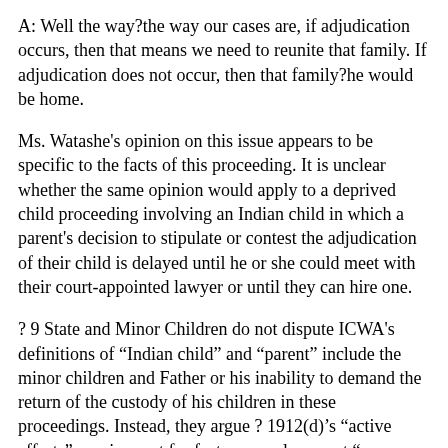A: Well the way?the way our cases are, if adjudication occurs, then that means we need to reunite that family. If adjudication does not occur, then that family?he would be home.
Ms. Watashe's opinion on this issue appears to be specific to the facts of this proceeding. It is unclear whether the same opinion would apply to a deprived child proceeding involving an Indian child in which a parent's decision to stipulate or contest the adjudication of their child is delayed until he or she could meet with their court-appointed lawyer or until they can hire one.
? 9 State and Minor Children do not dispute ICWA's definitions of “Indian child” and “parent” include the minor children and Father or his inability to demand the return of the custody of his children in these proceedings. Instead, they argue ? 1912(d)’s “active efforts” requirement for foster care placement “was never triggered” and “does not apply” because there is “no placement of the children in a foster home,